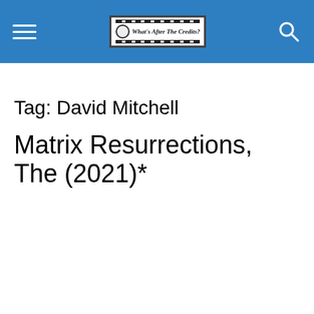What's After The Credits? [site header with logo]
Tag: David Mitchell
Matrix Resurrections, The (2021)*